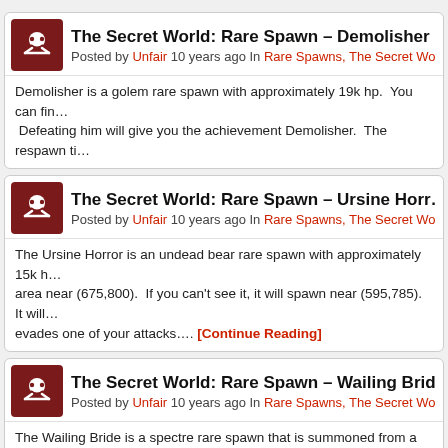The Secret World: Rare Spawn – Demolisher
Posted by Unfair 10 years ago In Rare Spawns, The Secret World
Demolisher is a golem rare spawn with approximately 19k hp. You can find... Defeating him will give you the achievement Demolisher. The respawn ti...
The Secret World: Rare Spawn – Ursine Horror
Posted by Unfair 10 years ago In Rare Spawns, The Secret World
The Ursine Horror is an undead bear rare spawn with approximately 15k h... area near (675,800). If you can't see it, it will spawn near (595,785). It will... evades one of your attacks.... [Continue Reading]
The Secret World: Rare Spawn – Wailing Bride
Posted by Unfair 10 years ago In Rare Spawns, The Secret World
The Wailing Bride is a spectre rare spawn that is summoned from a pair of... approximately 8k hp. They can be found under a tree at (990,725). Clicking... the Wailing Bride or the Lost Groom.... [Continue Reading]
The Secret World: Rare Spawn – Fecund Ch...
Posted by Unfair 10 years ago In Rare Spawns, The Secret World